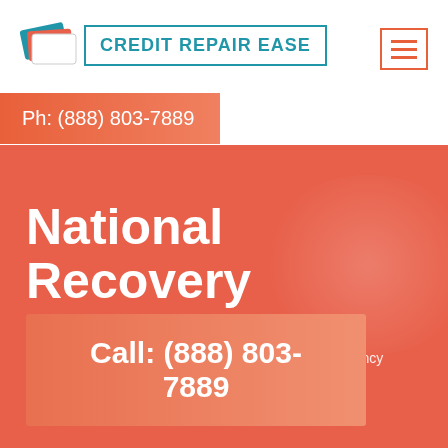[Figure (logo): Credit Repair Ease logo with card icons and text in a blue bordered box]
[Figure (other): Hamburger menu icon with orange/red border]
Ph: (888) 803-7889
National Recovery Agency
Home --> Collection Agency --> National recovery agency
Call: (888) 803-7889